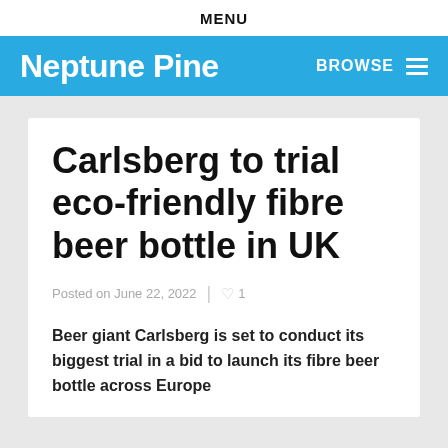MENU
Neptune Pine
BROWSE
Carlsberg to trial eco-friendly fibre beer bottle in UK
Posted on June 22, 2022  1
Beer giant Carlsberg is set to conduct its biggest trial in a bid to launch its fibre beer bottle across Europe